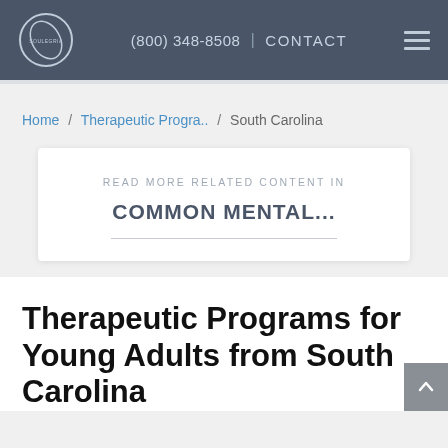(800) 348-8508 | CONTACT
Home / Therapeutic Progra.. / South Carolina
READ MORE RELATED CONTENT IN
COMMON MENTAL...
Therapeutic Programs for Young Adults from South Carolina